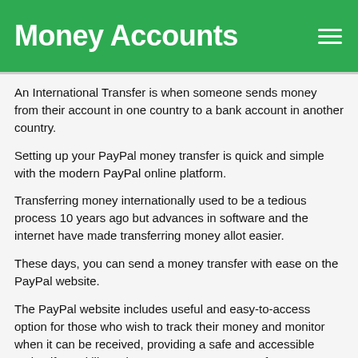Money Accounts
An International Transfer is when someone sends money from their account in one country to a bank account in another country.
Setting up your PayPal money transfer is quick and simple with the modern PayPal online platform.
Transferring money internationally used to be a tedious process 10 years ago but advances in software and the internet have made transferring money allot easier.
These days, you can send a money transfer with ease on the PayPal website.
The PayPal website includes useful and easy-to-access option for those who wish to track their money and monitor when it can be received, providing a safe and accessible option if you'd like to keep an eye on your transfer.
PayPal review
PayPal Minimum Money Transfer